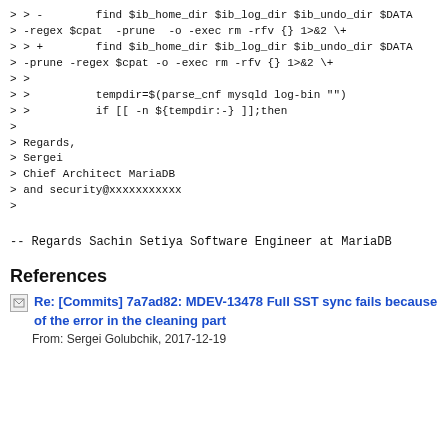> > -        find $ib_home_dir $ib_log_dir $ib_undo_dir $DATA
> -regex $cpat  -prune  -o -exec rm -rfv {} 1>&2 \+
> > +        find $ib_home_dir $ib_log_dir $ib_undo_dir $DATA
> -prune -regex $cpat -o -exec rm -rfv {} 1>&2 \+
> >
> >          tempdir=$(parse_cnf mysqld log-bin "")
> >          if [[ -n ${tempdir:-} ]];then
>
> Regards,
> Sergei
> Chief Architect MariaDB
> and security@xxxxxxxxxxx
>
--
Regards
Sachin Setiya
Software Engineer at  MariaDB
References
Re: [Commits] 7a7ad82: MDEV-13478 Full SST sync fails because of the error in the cleaning part
From: Sergei Golubchik, 2017-12-19